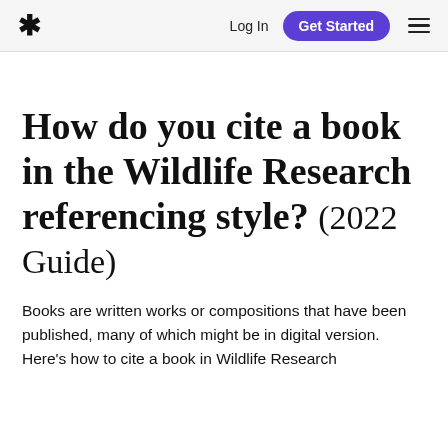Log In  Get Started
How do you cite a book in the Wildlife Research referencing style? (2022 Guide)
Books are written works or compositions that have been published, many of which might be in digital version. Here's how to cite a book in Wildlife Research